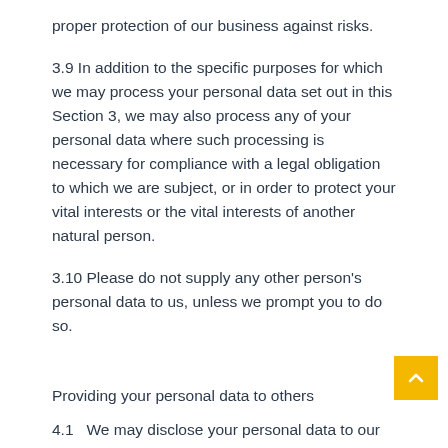proper protection of our business against risks.
3.9 In addition to the specific purposes for which we may process your personal data set out in this Section 3, we may also process any of your personal data where such processing is necessary for compliance with a legal obligation to which we are subject, or in order to protect your vital interests or the vital interests of another natural person.
3.10 Please do not supply any other person's personal data to us, unless we prompt you to do so.
Providing your personal data to others
4.1   We may disclose your personal data to our insurers